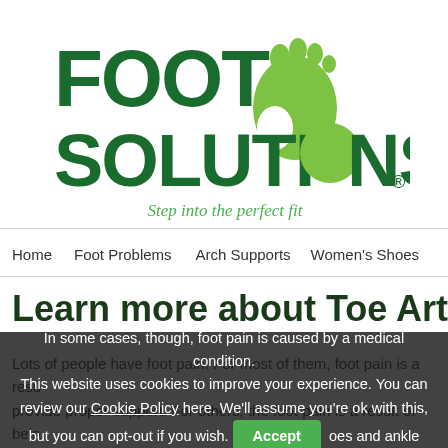[Figure (logo): Foot Solutions logo with green foot icon and tagline 'Step into the perfect fit']
Home   Foot Problems   Arch Supports   Women's Shoes
Learn more about Toe Arthr
Lots of people have foot pain. For most of them, foot pain is a result of shoes that don't provide proper support. For others, the foot pain is a result of being on their feet too long.
In some cases, though, foot pain is caused by a medical condition. ... places foot ... toes and ankles
This website uses cookies to improve your experience. You can review our Cookie Policy here. We'll assume you're ok with this, but you can opt-out if you wish. Accept